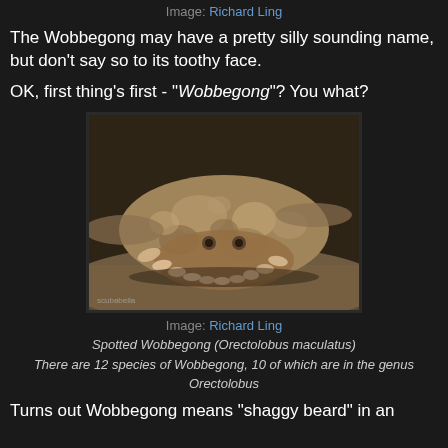Image: Richard Ling
The Wobbegong may have a pretty silly sounding name, but don't say so to its toothy face.
OK, first thing's first - "Wobbegong"? You what?
[Figure (photo): Underwater photograph of a Spotted Wobbegong (Orectolobus maculatus) shark resting on sandy ocean floor, showing its flat mottled brown and tan camouflaged body with frilly lobes around its head.]
Image: Richard Ling
Spotted Wobbegong (Orectolobus maculatus)
There are 12 species of Wobbegong, 10 of which are in the genus Orectolobus
Turns out Wobbegong means "shaggy beard" in an